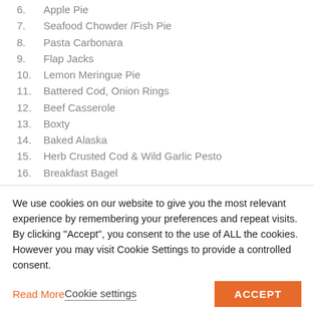6. Apple Pie
7. Seafood Chowder /Fish Pie
8. Pasta Carbonara
9. Flap Jacks
10. Lemon Meringue Pie
11. Battered Cod, Onion Rings
12. Beef Casserole
13. Boxty
14. Baked Alaska
15. Herb Crusted Cod & Wild Garlic Pesto
16. Breakfast Bagel
17. Herb & Tomato Bread
We use cookies on our website to give you the most relevant experience by remembering your preferences and repeat visits. By clicking "Accept", you consent to the use of ALL the cookies. However you may visit Cookie Settings to provide a controlled consent.